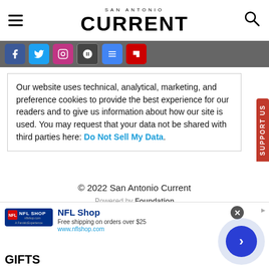SAN ANTONIO CURRENT
[Figure (other): Social media icon bar with Facebook, Twitter, Instagram, Apple News, Google News, and Flipboard icons]
Our website uses technical, analytical, marketing, and preference cookies to provide the best experience for our readers and to give us information about how our site is used. You may request that your data not be shared with third parties here: Do Not Sell My Data.
© 2022 San Antonio Current
Powered by Foundation
[Figure (other): NFL Shop advertisement banner with logo, Free shipping on orders over $25, www.nflshop.com, GIFTS text]